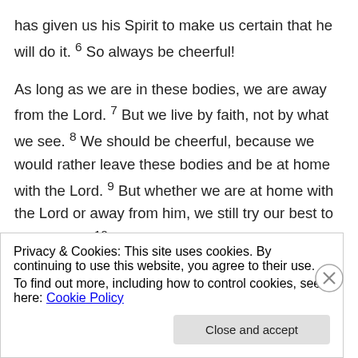has given us his Spirit to make us certain that he will do it. 6 So always be cheerful!
As long as we are in these bodies, we are away from the Lord. 7 But we live by faith, not by what we see. 8 We should be cheerful, because we would rather leave these bodies and be at home with the Lord. 9 But whether we are at home with the Lord or away from him, we still try our best to please him. 10 After all, Christ will judge each of us for the good or the bad that we do while living in these bodies.
Privacy & Cookies: This site uses cookies. By continuing to use this website, you agree to their use.
To find out more, including how to control cookies, see here: Cookie Policy